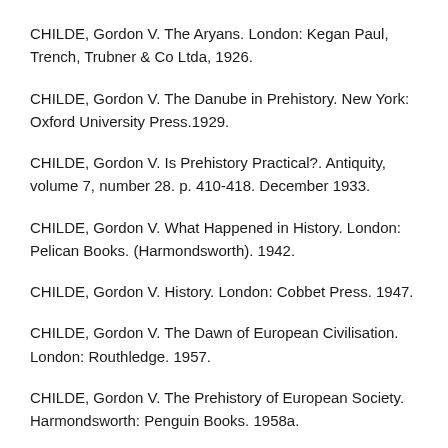CHILDE, Gordon V. The Aryans. London: Kegan Paul, Trench, Trubner & Co Ltda, 1926.
CHILDE, Gordon V. The Danube in Prehistory. New York: Oxford University Press.1929.
CHILDE, Gordon V. Is Prehistory Practical?. Antiquity, volume 7, number 28. p. 410-418. December 1933.
CHILDE, Gordon V. What Happened in History. London: Pelican Books. (Harmondsworth). 1942.
CHILDE, Gordon V. History. London: Cobbet Press. 1947.
CHILDE, Gordon V. The Dawn of European Civilisation. London: Routhledge. 1957.
CHILDE, Gordon V. The Prehistory of European Society. Harmondsworth: Penguin Books. 1958a.